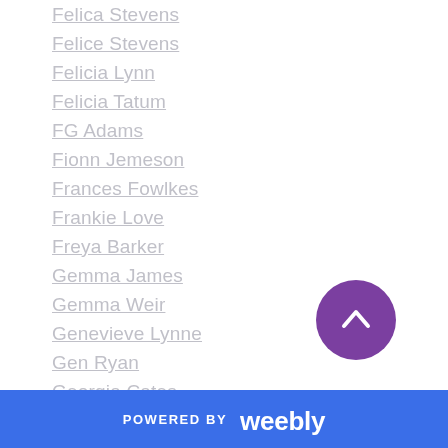Felica Stevens
Felice Stevens
Felicia Lynn
Felicia Tatum
FG Adams
Fionn Jemeson
Frances Fowlkes
Frankie Love
Freya Barker
Gemma James
Gemma Weir
Genevieve Lynne
Gen Ryan
Georgia Cates
Geri Glenn
Gia Riley
Gillian Archer
POWERED BY weebly